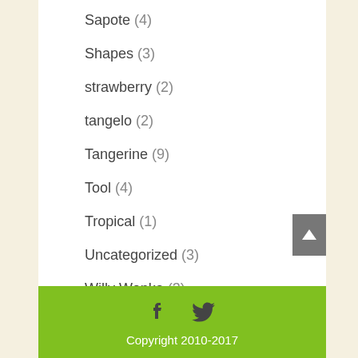Sapote (4)
Shapes (3)
strawberry (2)
tangelo (2)
Tangerine (9)
Tool (4)
Tropical (1)
Uncategorized (3)
Willy Wonka (3)
Copyright 2010-2017